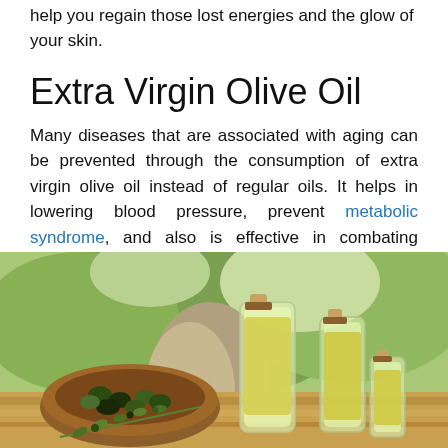help you regain those lost energies and the glow of your skin.
Extra Virgin Olive Oil
Many diseases that are associated with aging can be prevented through the consumption of extra virgin olive oil instead of regular oils. It helps in lowering blood pressure, prevent metabolic syndrome, and also is effective in combating cancers.
[Figure (photo): Glass bottles filled with golden olive oil alongside a wooden bowl of fresh green and black olives, set outdoors near olive trees.]